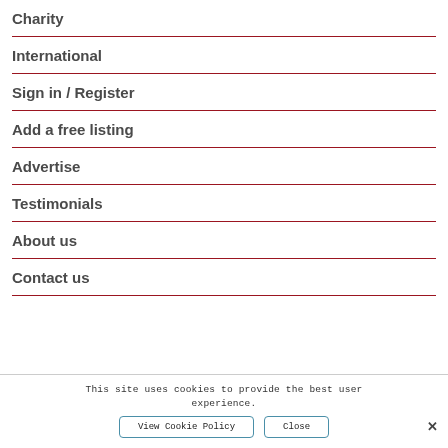Charity
International
Sign in / Register
Add a free listing
Advertise
Testimonials
About us
Contact us
This site uses cookies to provide the best user experience.
View Cookie Policy
Close